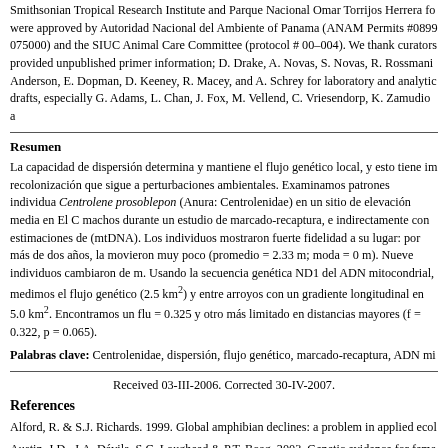Smithsonian Tropical Research Institute and Parque Nacional Omar Torrijos Herrera fo were approved by Autoridad Nacional del Ambiente of Panama (ANAM Permits #0899 075000) and the SIUC Animal Care Committee (protocol # 00–004). We thank curators provided unpublished primer information; D. Drake, A. Novas, S. Novas, R. Rossmani Anderson, E. Dopman, D. Keeney, R. Macey, and A. Schrey for laboratory and analytic drafts, especially G. Adams, L. Chan, J. Fox, M. Vellend, C. Vriesendorp, K. Zamudio a
Resumen
La capacidad de dispersión determina y mantiene el flujo genético local, y esto tiene im recolonización que sigue a perturbaciones ambientales. Examinamos patrones individua Centrolene prosoblepon (Anura: Centrolenidae) en un sitio de elevación media en El C machos durante un estudio de marcado-recaptura, e indirectamente con estimaciones de (mtDNA). Los individuos mostraron fuerte fidelidad a su lugar: por más de dos años, la movieron muy poco (promedio = 2.33 m; moda = 0 m). Nueve individuos cambiaron de m. Usando la secuencia genética ND1 del ADN mitocondrial, medimos el flujo genético (2.5 km²) y entre arroyos con un gradiente longitudinal en 5.0 km². Encontramos un flu = 0.325 y otro más limitado en distancias mayores (f = 0.322, p = 0.065).
Palabras clave: Centrolenidae, dispersión, flujo genético, marcado-recaptura, ADN mi
Received 03-III-2006. Corrected 30-IV-2007.
References
Alford, R. & S.J. Richards. 1999. Global amphibian declines: a problem in applied ecol
Austin, J.D., J.A. Dávila, S.C. Lougheed & P.T. Boag. 2003. Genetic evidence for fema